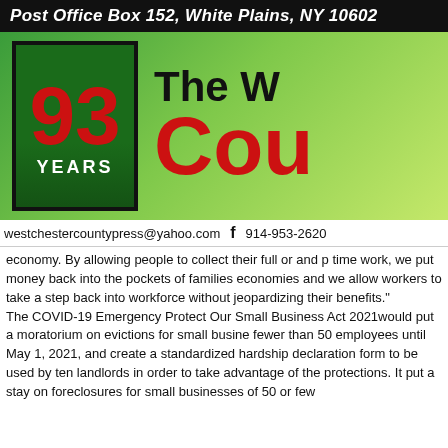Post Office Box 152, White Plains, NY 10602
[Figure (logo): Westchester County Press newspaper logo banner. Green gradient background. Left: a box with '93 YEARS' in red/white text. Right: partial newspaper title showing 'The W' and 'Cou' in black and red large bold text.]
westchestercountypress@yahoo.com   f   914-953-2620
economy. By allowing people to collect their full or and part time work, we put money back into the pockets of families economies and we allow workers to take a step back into the workforce without jeopardizing their benefits."
The COVID-19 Emergency Protect Our Small Business Act 2021would put a moratorium on evictions for small businesses fewer than 50 employees until May 1, 2021, and create a standardized hardship declaration form to be used by tenants landlords in order to take advantage of the protections. It put a stay on foreclosures for small businesses of 50 or few